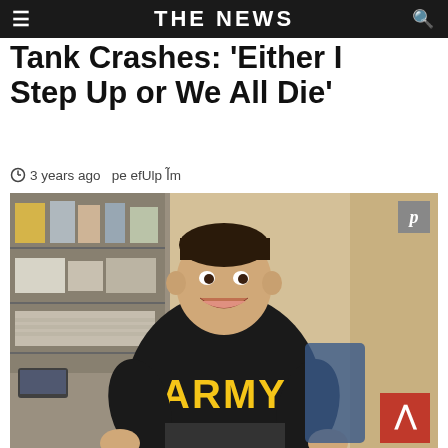THE NEWS
Tank Crashes: 'Either I Step Up or We All Die'
3 years ago  perefUlp l̃m
[Figure (photo): A young man in a black Army t-shirt with yellow ARMY lettering, smiling, seated in what appears to be a medical or office room, holding a prosthetic leg. Behind him are shelves with papers, posters, and a beige curtain. A Pinterest share button is visible top-right and a red back-to-top button is at bottom-right.]